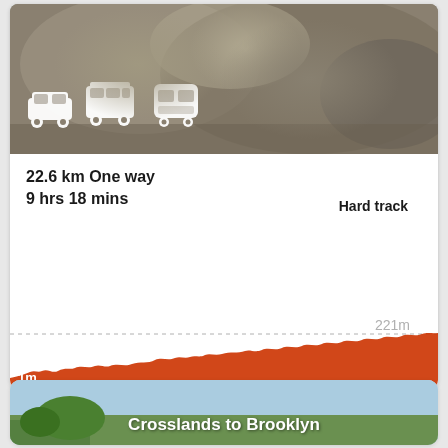[Figure (photo): Rocky trail photo with white transport icons (car, bus, train) overlaid at bottom left]
[Figure (donut-chart): Donut chart showing difficulty rating of 4, mostly blue with small grey segment]
22.6 km One way
9 hrs 18 mins
Hard track
[Figure (area-chart): Elevation profile showing trail from 1m to 221m, red/orange filled area chart]
[Figure (photo): Crosslands to Brooklyn card with sky and trees photo]
Crosslands to Brooklyn